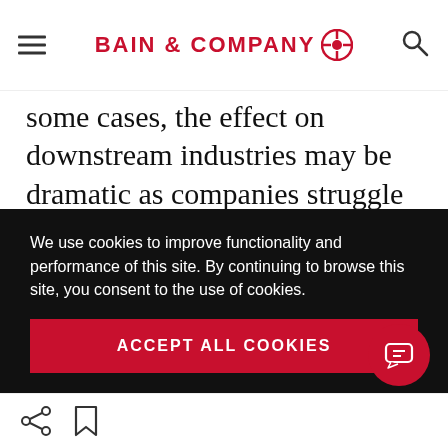BAIN & COMPANY
some cases, the effect on downstream industries may be dramatic as companies struggle with shortage-driven business-continuity risk and spikes in input costs well beyond anything they've planned for.  The impacts downstream can also be hard to see when considering just the commodities. For example, palladium shortages
We use cookies to improve functionality and performance of this site. By continuing to browse this site, you consent to the use of cookies.
ACCEPT ALL COOKIES